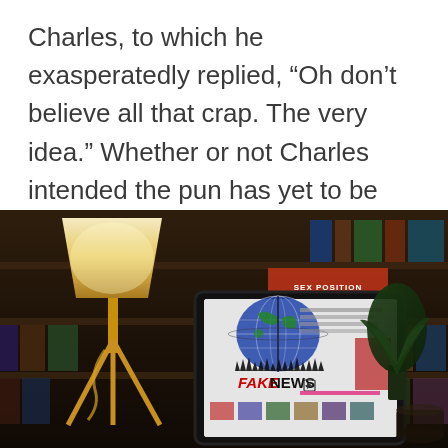Charles, to which he exasperatedly replied, “Oh don’t believe all that crap. The very idea.” Whether or not Charles intended the pun has yet to be confirmed.
[Figure (photo): A tablet computer displaying a 'FAKE NEWS' website with a globe graphic and crowd silhouette, placed on a desk in front of a bookshelf with a lamp and plant.]